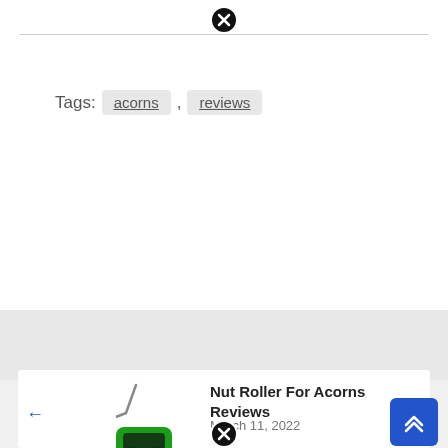[Figure (other): Close/dismiss icon (circle with X) at top of page]
Tags:  acorns  ,  reviews
[Figure (other): Nut roller lawn machine product image, top post]
Nut Roller For Acorns Reviews
March 11, 2022
[Figure (other): Nut roller lawn machine product image, bottom post]
Nut Roller For Acorns Reviews
March 11, 2022
[Figure (other): Close/dismiss icon (circle with X) at bottom of page]